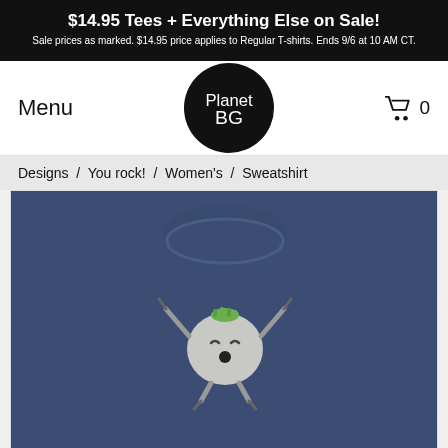$14.95 Tees + Everything Else on Sale! Sale prices as marked. $14.95 price applies to Regular T-shirts. Ends 9/6 at 10 AM CT.
Menu
[Figure (logo): PlanetBG circular logo in black with white script text]
[Figure (illustration): Shopping cart icon with number 0]
Designs / You rock! / Women's / Sweatshirt
[Figure (photo): Navy blue women's sweatshirt with a cartoon rock character graphic on the chest, raising arms with green hair tuft on top]